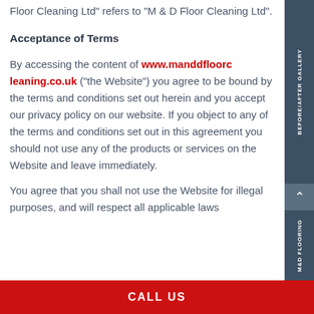Floor Cleaning Ltd” refers to “M & D Floor Cleaning Ltd”.
Acceptance of Terms
By accessing the content of www.manddfloorc leaning.co.uk (“the Website”) you agree to be bound by the terms and conditions set out herein and you accept our privacy policy on our website. If you object to any of the terms and conditions set out in this agreement you should not use any of the products or services on the Website and leave immediately.
You agree that you shall not use the Website for illegal purposes, and will respect all applicable laws
CALL US